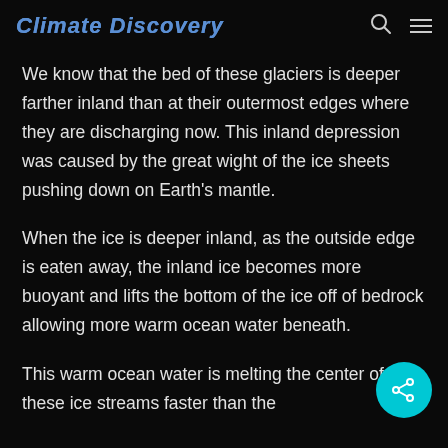Climate Discovery
We know that the bed of these glaciers is deeper farther inland than at their outermost edges where they are discharging now. This inland depression was caused by the great wight of the ice sheets pushing down on Earth's mantle.
When the ice is deeper inland, as the outside edge is eaten away, the inland ice becomes more buoyant and lifts the bottom of the ice off of bedrock allowing more warm ocean water beneath.
This warm ocean water is melting the center of these ice streams faster than the